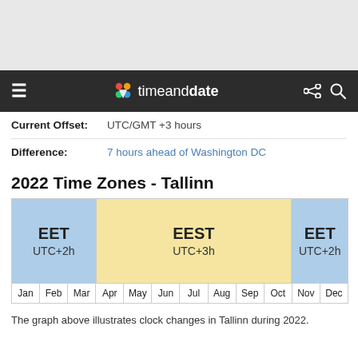timeanddate navigation bar
| Field | Value |
| --- | --- |
| Current Offset: | UTC/GMT +3 hours |
| Difference: | 7 hours ahead of Washington DC |
2022 Time Zones - Tallinn
[Figure (infographic): Horizontal bar chart showing time zones for Tallinn in 2022. Jan-Mar: EET UTC+2h (blue). Apr-Oct: EEST UTC+3h (yellow). Nov-Dec: EET UTC+2h (blue). X-axis shows months Jan through Dec.]
The graph above illustrates clock changes in Tallinn during 2022.